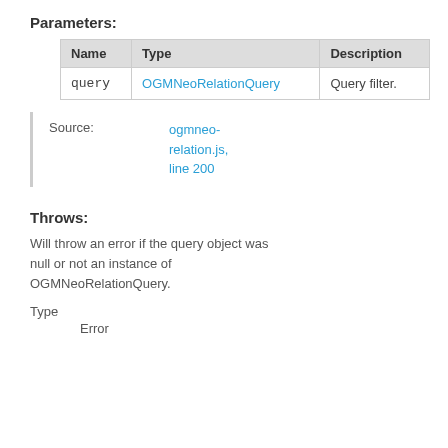Parameters:
| Name | Type | Description |
| --- | --- | --- |
| query | OGMNeoRelationQuery | Query filter. |
Source: ogmneo-relation.js, line 200
Throws:
Will throw an error if the query object was null or not an instance of OGMNeoRelationQuery.
Type
Error